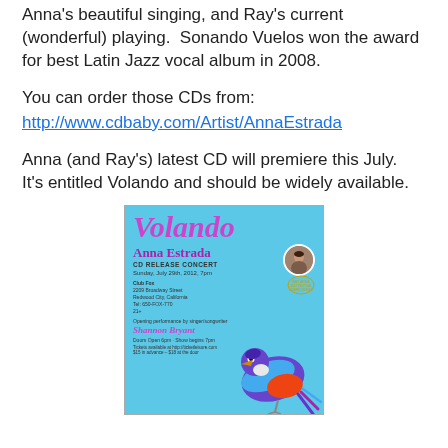Anna's beautiful singing, and Ray's current (wonderful) playing.  Sonando Vuelos won the award for best Latin Jazz vocal album in 2008.
You can order those CDs from:
http://www.cdbaby.com/Artist/AnnaEstrada
Anna (and Ray's) latest CD will premiere this July.  It's entitled Volando and should be widely available.
[Figure (photo): Concert poster for 'Volando' by Anna Estrada. CD Release Concert, Sunday, July 29th, 2012, 7pm. Club Fox, 2209 Broadway Street, Redwood City, California. Opening performance by singer/songwriter Shannon Bryant. Doors open 6pm, Show begins 7pm. Tickets available at http://ticketleisure.com. $15 in advance - $18 at the door. Features a colorful bird illustration on a blue background.]